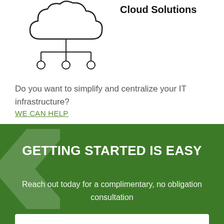[Figure (illustration): Cloud computing icon: a cloud shape at top connected by lines to three small circles below, drawn in black outline style]
Cloud Solutions
Do you want to simplify and centralize your IT infrastructure?
WE CAN HELP
GETTING STARTED IS EASY
Reach out today for a complimentary, no obligation consultation